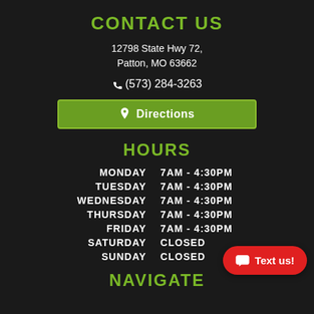CONTACT US
12798 State Hwy 72,
Patton, MO 63662
(573) 284-3263
[Figure (illustration): Green 'Directions' button with map pin icon]
HOURS
| MONDAY | 7AM - 4:30PM |
| TUESDAY | 7AM - 4:30PM |
| WEDNESDAY | 7AM - 4:30PM |
| THURSDAY | 7AM - 4:30PM |
| FRIDAY | 7AM - 4:30PM |
| SATURDAY | CLOSED |
| SUNDAY | CLOSED |
NAVIGATE
[Figure (illustration): Red 'Text us!' button with chat icon in bottom right corner]